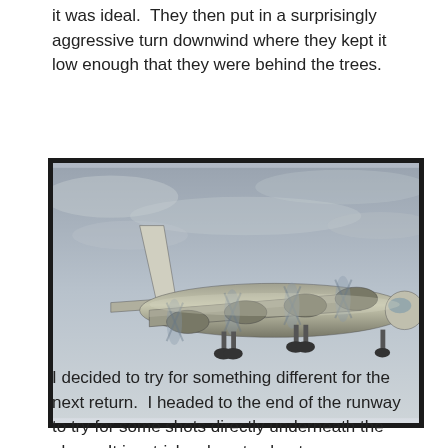it was ideal.  They then put in a surprisingly aggressive turn downwind where they kept it low enough that they were behind the trees.
[Figure (photo): Photograph of a WWII-era B-29 Superfortress bomber in flight against an overcast grey sky, viewed from slightly below and to the side, with landing gear deployed and four propeller engines running.]
I decided to try for something different for the next return.  I headed to the end of the runway to try for some shots directly underneath the plane.  It is a tricky place to shoot